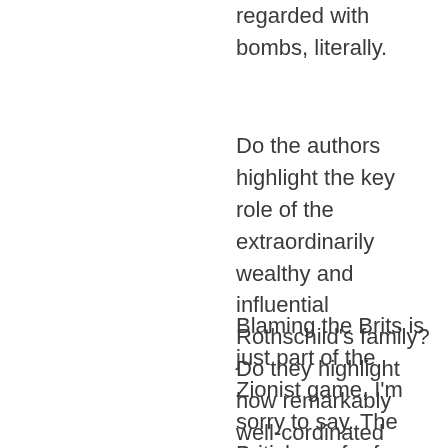regarded with bombs, literally.
Do the authors highlight the key role of the extraordinarily wealthy and influential Rothschild's family? Do they highlight how remarkably well-cordinated various wings of the Zionist movement were, as early as WW1?
Blaming the Brits is just part of the Zionist game, I'm sorry to say. The British are far from blameless, of course, even today: witness its role in Iraq and